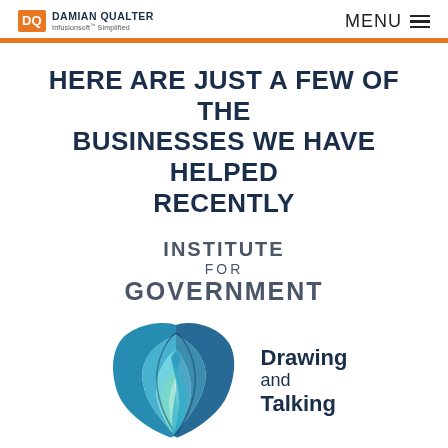DAMIAN QUALTER Infusionsoft Simplified | MENU
HERE ARE JUST A FEW OF THE BUSINESSES WE HAVE HELPED RECENTLY
[Figure (logo): Institute for Government logo — text-based logo reading INSTITUTE FOR GOVERNMENT in uppercase sans-serif]
[Figure (logo): Drawing and Talking logo — two teal butterfly wings forming human face silhouettes, with text 'Drawing and Talking' to the right]